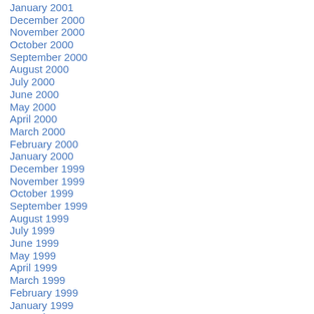January 2001
December 2000
November 2000
October 2000
September 2000
August 2000
July 2000
June 2000
May 2000
April 2000
March 2000
February 2000
January 2000
December 1999
November 1999
October 1999
September 1999
August 1999
July 1999
June 1999
May 1999
April 1999
March 1999
February 1999
January 1999
December 1998
November 1998
October 1998
September 1998
August 1998